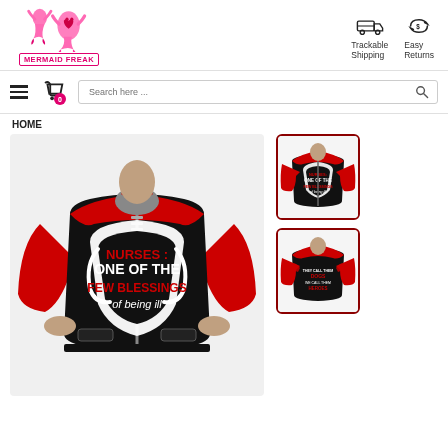[Figure (logo): Mermaid Freak logo with pink mermaid figure and text MERMAID FREAK in pink border]
[Figure (infographic): Trackable Shipping icon (truck) and Easy Returns icon (circular arrows with dollar sign)]
[Figure (screenshot): Navigation bar with hamburger menu, cart icon with 0 badge, and search bar with placeholder text 'Search here ...']
HOME
[Figure (photo): Main product photo: red and black bomber jacket with text NURSES: ONE OF THE FEW BLESSINGS of being ill on the front chest area with stethoscope design]
[Figure (photo): Thumbnail 1: Front view of same red/black nurse bomber jacket]
[Figure (photo): Thumbnail 2: Back view of red/black nurse bomber jacket]